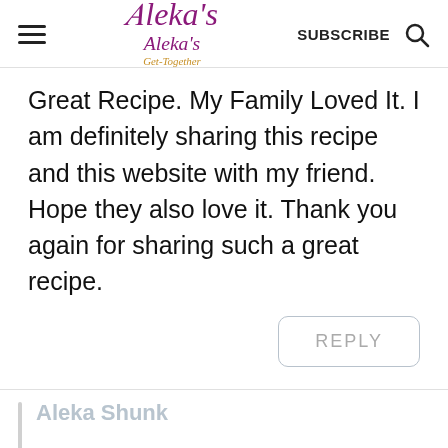Aleka's Get-Together | SUBSCRIBE
Great Recipe. My Family Loved It. I am definitely sharing this recipe and this website with my friend. Hope they also love it. Thank you again for sharing such a great recipe.
REPLY
Aleka Shunk